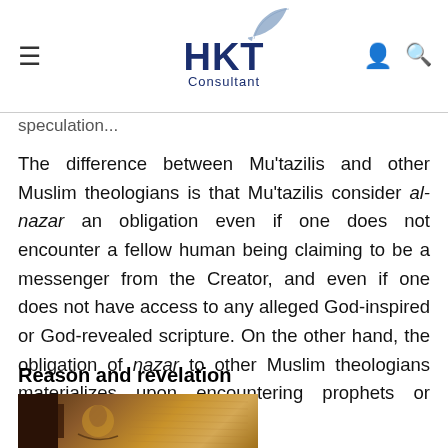HKT Consultant
speculation...
The difference between Mu'tazilis and other Muslim theologians is that Mu'tazilis consider al-nazar an obligation even if one does not encounter a fellow human being claiming to be a messenger from the Creator, and even if one does not have access to any alleged God-inspired or God-revealed scripture. On the other hand, the obligation of nazar to other Muslim theologians materializes upon encountering prophets or scripture. [citation needed]
Reason and revelation
[Figure (photo): Historical illustration or painting showing a figure, appearing to be a medieval Islamic scholar or related subject, with warm brown tones.]